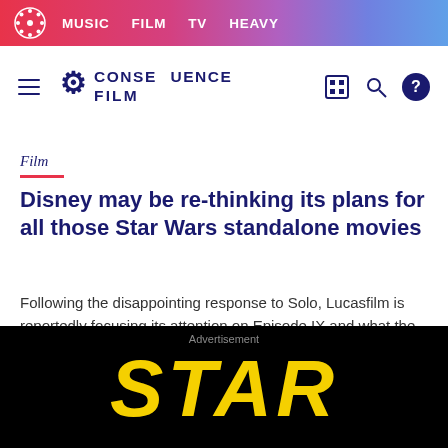MUSIC  FILM  TV  HEAVY
[Figure (logo): Consequence Film logo with gear icon, hamburger menu, search and help icons]
Film
Disney may be re-thinking its plans for all those Star Wars standalone movies
Following the disappointing response to Solo, Lucasfilm is reportedly focusing its attention on Episode IX and what the next trilogy of Star Wars film will be
[Figure (photo): Star Wars logo text on black background, advertisement section]